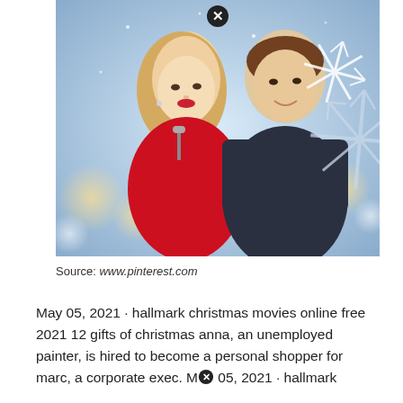[Figure (photo): A promotional photo of two people smiling — a blonde woman in a red dress holding a microphone and a man in a dark jacket, with a snowy winter bokeh background and large decorative snowflakes. A close/dismiss button (circled X) appears at the top center of the image.]
Source: www.pinterest.com
May 05, 2021 · hallmark christmas movies online free 2021 12 gifts of christmas anna, an unemployed painter, is hired to become a personal shopper for marc, a corporate exec. M[X] 05, 2021 · hallmark